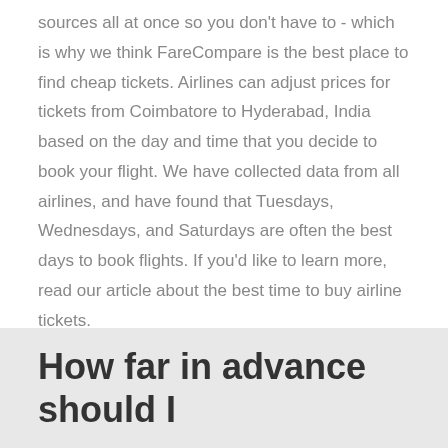sources all at once so you don't have to - which is why we think FareCompare is the best place to find cheap tickets. Airlines can adjust prices for tickets from Coimbatore to Hyderabad, India based on the day and time that you decide to book your flight. We have collected data from all airlines, and have found that Tuesdays, Wednesdays, and Saturdays are often the best days to book flights. If you'd like to learn more, read our article about the best time to buy airline tickets.
How far in advance should I